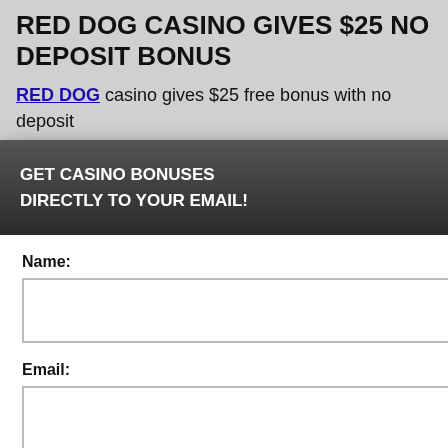RED DOG CASINO GIVES $25 NO DEPOSIT BONUS
RED DOG casino gives $25 free bonus with no deposit ... account and redeem the chip ... and redeem the code 25GIFT ... no deposit required ... valid once for new customers ... hout x3 the bonus amount.
GET CASINO BONUSES
DIRECTLY TO YOUR EMAIL!
Name:
Email:
Submit
By subscribing you are certifying that you have reviewed and accepted our updated Privacy and Cookie policy.
...perience, we use ... Using this site, ...kie & privacy policy.